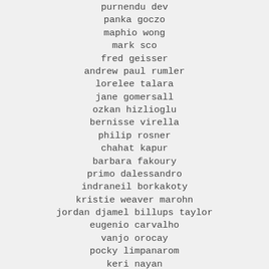purnendu dev
panka goczo
maphio wong
mark sco
fred geisser
andrew paul rumler
lorelee talara
jane gomersall
ozkan hizlioglu
bernisse virella
philip rosner
chahat kapur
barbara fakoury
primo dalessandro
indraneil borkakoty
kristie weaver marohn
jordan djamel billups taylor
eugenio carvalho
vanjo orocay
pocky limpanarom
keri nayan
okan bassa
brian kent acosta cruz santos
michelle mckenzie
christopher lee watt